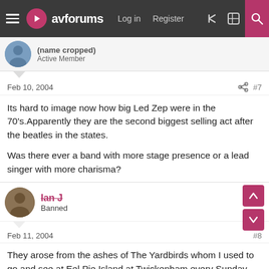avforums — Log in  Register
Active Member
Feb 10, 2004  #7
Its hard to image now how big Led Zep were in the 70's.Apparently they are the second biggest selling act after the beatles in the states.

Was there ever a band with more stage presence or a lead singer with more charisma?
Ian J
Banned
Feb 11, 2004  #8
They arose from the ashes of The Yardbirds whom I used to go and see at Eel Pie Island at Twickenham every Sunday night in the early sixties as they were the resident band there.